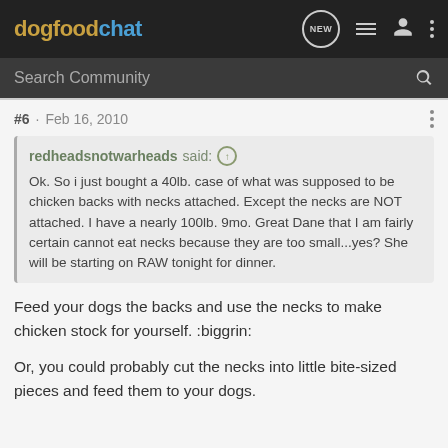dogfoodchat
Search Community
#6 · Feb 16, 2010
redheadsnotwarheads said: Ok. So i just bought a 40lb. case of what was supposed to be chicken backs with necks attached. Except the necks are NOT attached. I have a nearly 100lb. 9mo. Great Dane that I am fairly certain cannot eat necks because they are too small...yes? She will be starting on RAW tonight for dinner.
Feed your dogs the backs and use the necks to make chicken stock for yourself. :biggrin:
Or, you could probably cut the necks into little bite-sized pieces and feed them to your dogs.